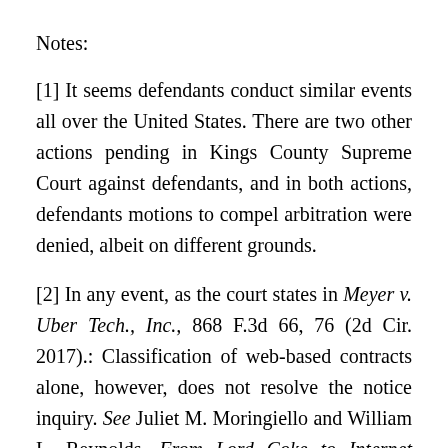Notes:
[1] It seems defendants conduct similar events all over the United States. There are two other actions pending in Kings County Supreme Court against defendants, and in both actions, defendants motions to compel arbitration were denied, albeit on different grounds.
[2] In any event, as the court states in Meyer v. Uber Tech., Inc., 868 F.3d 66, 76 (2d Cir. 2017).: Classification of web-based contracts alone, however, does not resolve the notice inquiry. See Juliet M. Moringiello and William L. Reynolds, From Lord Coke to Internet Privacy: The Past, Present, and Future of the Law of Electronic Contracting, 72 Md. L.Rev. 452, 466 (2013) (“Whether terms are classified as clickwrap says little about whether the offeree had notice of the” before it continues on the next page.